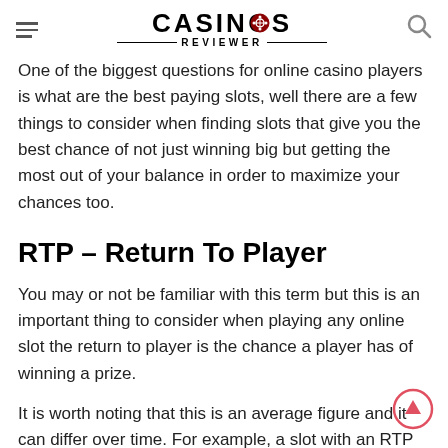CASINOS REVIEWER
One of the biggest questions for online casino players is what are the best paying slots, well there are a few things to consider when finding slots that give you the best chance of not just winning big but getting the most out of your balance in order to maximize your chances too.
RTP – Return To Player
You may or not be familiar with this term but this is an important thing to consider when playing any online slot the return to player is the chance a player has of winning a prize.
It is worth noting that this is an average figure and it can differ over time. For example, a slot with an RTP of 20%